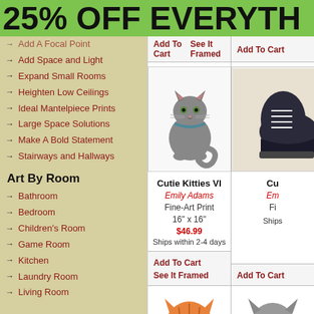25% OFF EVERYTH
Add A Focal Point
Add Space and Light
Expand Small Rooms
Heighten Low Ceilings
Ideal Mantelpiece Prints
Large Space Solutions
Make A Bold Statement
Stairways and Hallways
Art By Room
Bathroom
Bedroom
Children's Room
Game Room
Kitchen
Laundry Room
Living Room
Add To Cart   See It Framed
[Figure (photo): Gray cat sitting on white background - Cutie Kitties VI by Emily Adams]
Cutie Kitties VI
Emily Adams
Fine-Art Print
16" x 16"
$46.99
Ships within 2-4 days
Add To Cart   See It Framed
[Figure (photo): Partial image of second product - shoes or similar item]
Add To Cart
[Figure (photo): Orange cat with pink bow - partial image at bottom]
[Figure (photo): Gray cat partial image at bottom right]